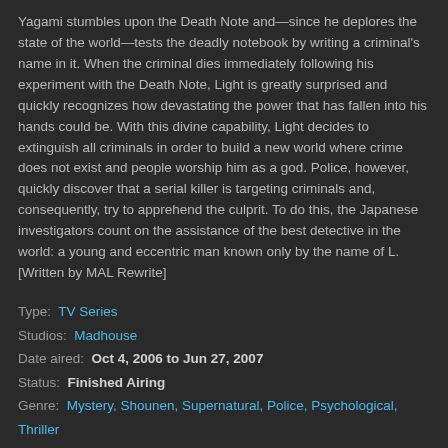Yagami stumbles upon the Death Note and—since he deplores the state of the world—tests the deadly notebook by writing a criminal's name in it. When the criminal dies immediately following his experiment with the Death Note, Light is greatly surprised and quickly recognizes how devastating the power that has fallen into his hands could be. With this divine capability, Light decides to extinguish all criminals in order to build a new world where crime does not exist and people worship him as a god. Police, however, quickly discover that a serial killer is targeting criminals and, consequently, try to apprehend the culprit. To do this, the Japanese investigators count on the assistance of the best detective in the world: a young and eccentric man known only by the name of L. [Written by MAL Rewrite]
Type: TV Series
Studios: Madhouse
Date aired: Oct 4, 2006 to Jun 27, 2007
Status: Finished Airing
Genre: Mystery, Shounen, Supernatural, Police, Psychological, Thriller
Scores: 8.63